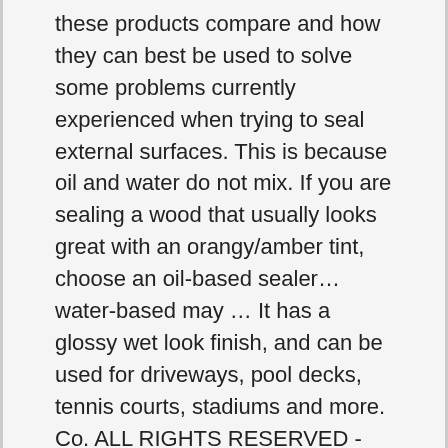these products compare and how they can best be used to solve some problems currently experienced when trying to seal external surfaces. This is because oil and water do not mix. If you are sealing a wood that usually looks great with an orangy/amber tint, choose an oil-based sealer…water-based may … It has a glossy wet look finish, and can be used for driveways, pool decks, tennis courts, stadiums and more. Co. ALL RIGHTS RESERVED - EagleSealer.com Water-Based, Economical Cure & Seal for Concrete View Item For over a century, The Euclid Chemical Company has served the global building market as a worldwide quality supplier of specialty products and technical support services for the concrete and masonry construction industry. Based on my observations, I have begun advocating the use of water-based acrylic sealers over solvent-based ones for all types of concrete. "All Water-Based Super...